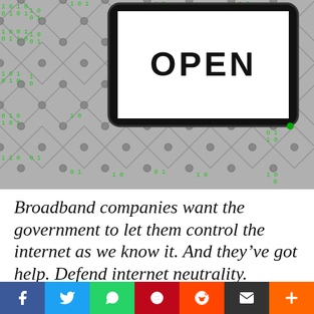[Figure (photo): A tablet showing the word OPEN on its screen, surrounded by a chain-link fence pattern with green binary code (zeros and ones) overlaid on the background.]
Broadband companies want the government to let them control the internet as we know it. And they've got help. Defend internet neutrality.
(Other Words, By Razan Azzarkani) Think about the websites you visit. The movies you stream. The music you listen to online. The animal videos that are just too cute not to share.
[Figure (infographic): Social media sharing bar with Facebook, Twitter, WhatsApp, Pinterest, Reddit, Email, and Plus buttons.]